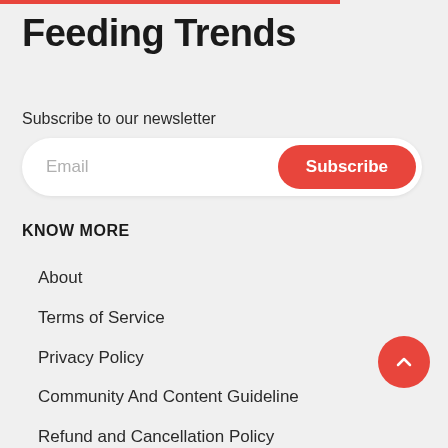Feeding Trends
Subscribe to our newsletter
Email | Subscribe
KNOW MORE
About
Terms of Service
Privacy Policy
Community And Content Guideline
Refund and Cancellation Policy
Partner Program
Send Feedback
Career
Contact Us